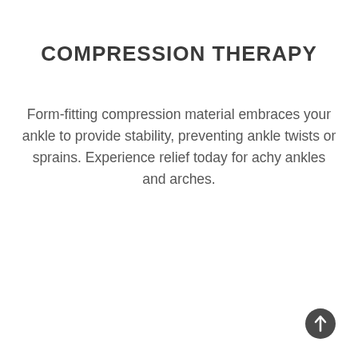COMPRESSION THERAPY
Form-fitting compression material embraces your ankle to provide stability, preventing ankle twists or sprains. Experience relief today for achy ankles and arches.
[Figure (other): An upward arrow icon inside a dark circular button, positioned at the bottom right corner of the page.]